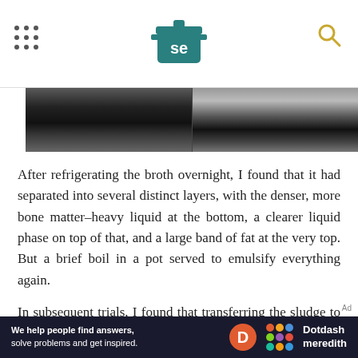Serious Eats header with logo and navigation
[Figure (photo): Close-up photo of a pot or bowl showing separated broth layers — dark liquid with fat — split into two side-by-side images]
After refrigerating the broth overnight, I found that it had separated into several distinct layers, with the denser, more bone matter–heavy liquid at the bottom, a clearer liquid phase on top of that, and a large band of fat at the very top. But a brief boil in a pot served to emulsify everything again.
In subsequent trials, I found that transferring the sludge to a pot and boiling it over high heat on the stovetop for 10 minutes helped keep it emulsified
[Figure (other): Dotdash Meredith advertisement banner — 'We help people find answers, solve problems and get inspired.']